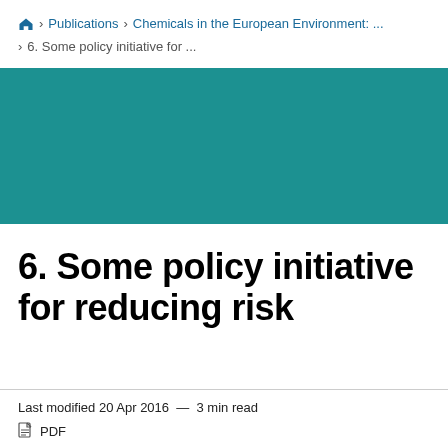Publications > Chemicals in the European Environment: ... > 6. Some policy initiative for ...
[Figure (other): Teal/dark cyan decorative banner background]
6. Some policy initiative for reducing risk
Last modified 20 Apr 2016  —  3 min read
PDF